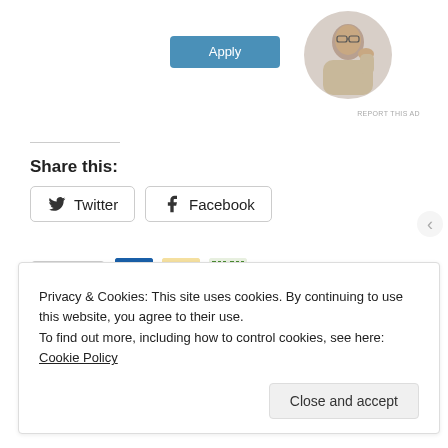[Figure (other): Blue Apply button]
[Figure (photo): Circular profile photo of a man thinking, resting chin on hand, at a desk]
REPORT THIS AD
Share this:
[Figure (other): Twitter share button]
[Figure (other): Facebook share button]
[Figure (other): Like button with star icon, and three blogger avatar thumbnails]
3 bloggers like this.
Privacy & Cookies: This site uses cookies. By continuing to use this website, you agree to their use.
To find out more, including how to control cookies, see here: Cookie Policy
Close and accept